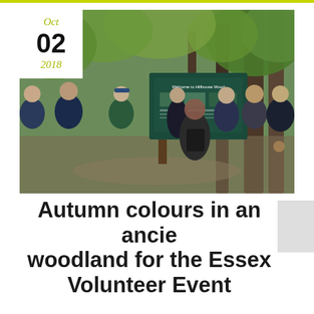[Figure (photo): Group of people gathered around a 'Welcome to Hillhouse Wood' information board in a woodland setting. Trees with autumn foliage visible in background. A date overlay in the top-left corner shows Oct 02 2018.]
Autumn colours in an ancient woodland for the Essex Volunteer Event